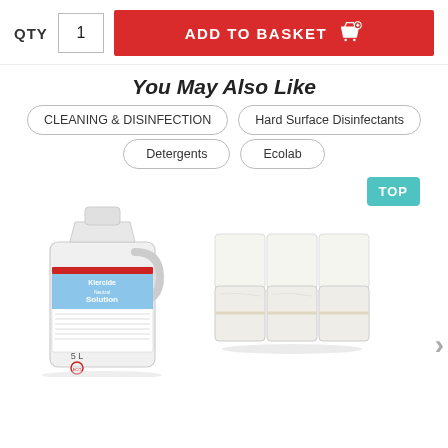QTY
1
ADD TO BASKET
You May Also Like
CLEANING & DISINFECTION
Hard Surface Disinfectants
Detergents
Ecolab
[Figure (photo): White plastic 5L container with Klercide label by Ecolab]
[Figure (photo): Stack of white sealed plastic bags arranged in a block]
TOP